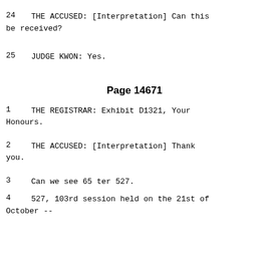24    THE ACCUSED: [Interpretation] Can this be received?
25    JUDGE KWON:  Yes.
Page 14671
1    THE REGISTRAR:  Exhibit D1321, Your Honours.
2    THE ACCUSED: [Interpretation] Thank you.
3    Can we see 65 ter 527.
4    527, 103rd session held on the 21st of October --